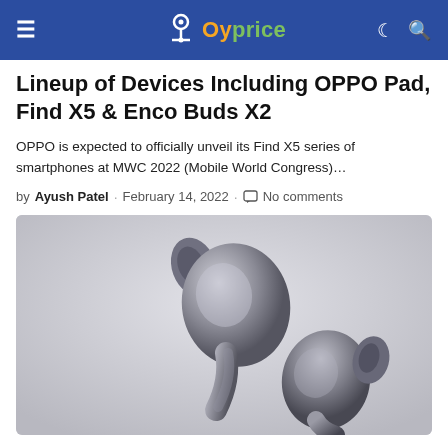Oyprice
Lineup of Devices Including OPPO Pad, Find X5 & Enco Buds X2
OPPO is expected to officially unveil its Find X5 series of smartphones at MWC 2022 (Mobile World Congress)…
by Ayush Patel · February 14, 2022 · No comments
[Figure (photo): Close-up product photo of OPPO Enco Buds X2 wireless earbuds in silver/grey finish against a light grey gradient background]